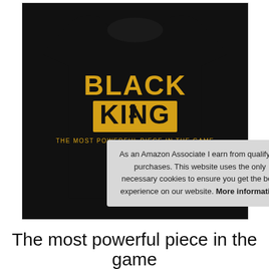[Figure (photo): A black t-shirt with bold gold text reading 'BLACK KING' and a chess king piece silhouette, with subtitle 'THE MOST POWERFUL PIECE IN THE GAME']
As an Amazon Associate I earn from qualifying purchases. This website uses the only necessary cookies to ensure you get the best experience on our website. More information
The most powerful piece in the game